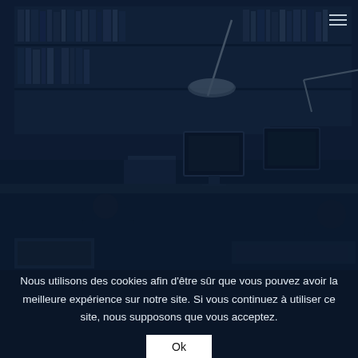[Figure (photo): Dark-tinted office/library scene showing people working at desks with computers, bookshelves in background, dark navy overlay]
Nous utilisons des cookies afin d'être sûr que vous pouvez avoir la meilleure expérience sur notre site. Si vous continuez à utiliser ce site, nous supposons que vous acceptez.